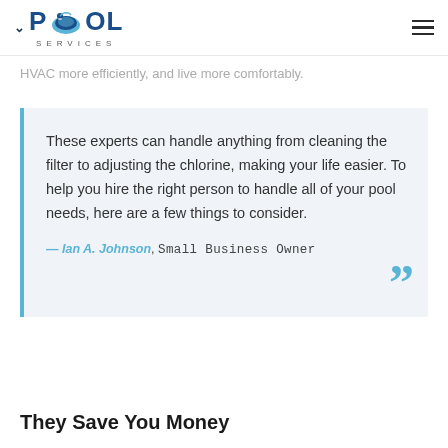POOL SERVICES
HVAC more efficiently, and live more comfortably.
These experts can handle anything from cleaning the filter to adjusting the chlorine, making your life easier. To help you hire the right person to handle all of your pool needs, here are a few things to consider.
— Ian A. Johnson, Small Business Owner
They Save You Money